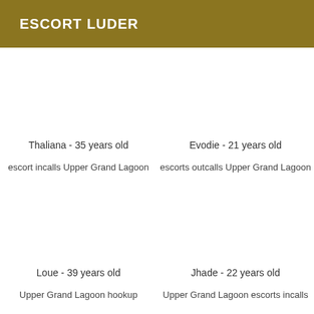ESCORT LUDER
Thaliana - 35 years old
escort incalls Upper Grand Lagoon
Evodie - 21 years old
escorts outcalls Upper Grand Lagoon
Loue - 39 years old
Upper Grand Lagoon hookup
Jhade - 22 years old
Upper Grand Lagoon escorts incalls